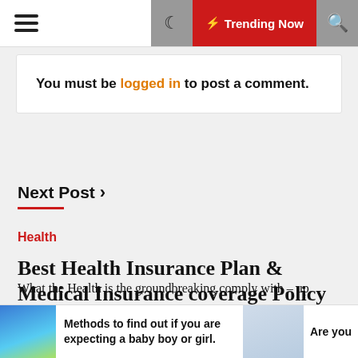☰  ☾  ⚡ Trending Now  🔍
You must be logged in to post a comment.
Next Post ›
Health
Best Health Insurance Plan & Medical Insurance coverage Policy On-line
Fri Jun 28 , 2019
What the Health is the groundbreaking comply with – up
Methods to find out if you are expecting a baby boy or girl.   Are you